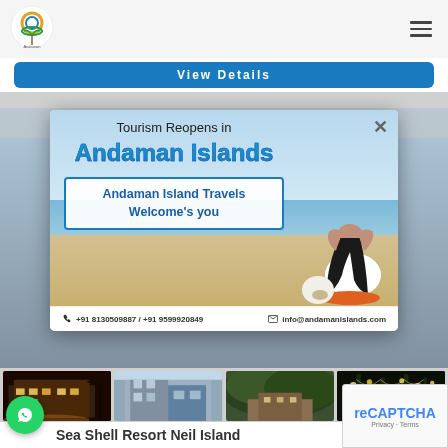[Figure (logo): Andaman tourism logo - circular colorful logo]
[Figure (screenshot): View Details button - blue rounded rectangle button]
[Figure (infographic): Tourism Reopens in Andaman Islands popup modal with beach background, woman sitting on beach, contact details]
[Figure (photo): Four hotel thumbnail photos of Sea Shell Resort Neil Island showing buildings at night and in daylight]
Sea Shell Resort Neil Island